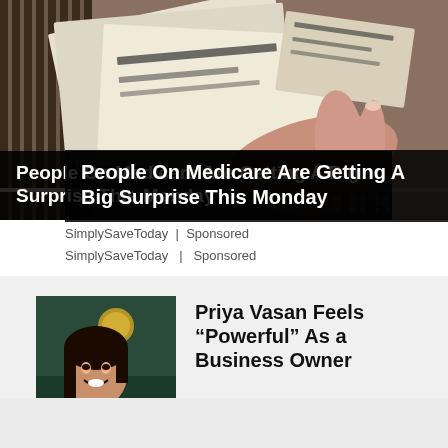[Figure (photo): Video thumbnail showing a hand holding documents with text/stamps, resembling financial papers or checks, with playback controls overlay]
People On Medicare Are Getting A Big Surprise This Monday
SimplySaveToday | Sponsored
[Figure (photo): Portrait photo of Priya Vasan, a young woman smiling, wearing a floral top and necklace]
Priya Vasan Feels “Powerful” As a Business Owner
Wells Fargo | Sponsored